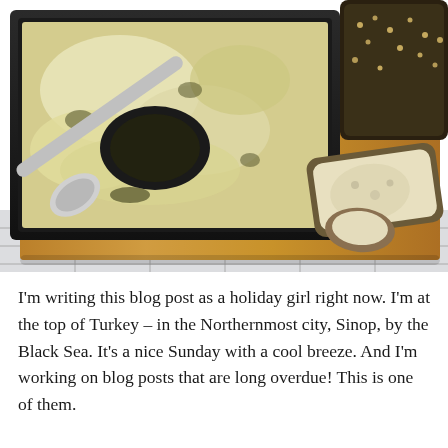[Figure (photo): Overhead photo of a partially eaten baked dish in a dark baking pan with a spoon, placed on a wooden cutting board alongside pieces of seeded bread. The board rests on a white tiled surface.]
I'm writing this blog post as a holiday girl right now. I'm at the top of Turkey – in the Northernmost city, Sinop, by the Black Sea. It's a nice Sunday with a cool breeze. And I'm working on blog posts that are long overdue! This is one of them.